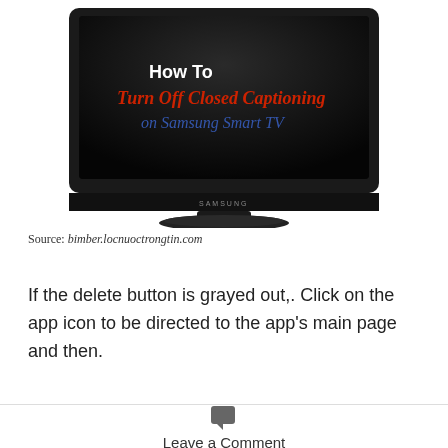[Figure (illustration): A Samsung flat-screen TV displaying the text 'How To Turn Off Closed Captioning on Samsung Smart TV' on a dark screen background.]
Source: bimber.locnuoctrongtin.com
If the delete button is grayed out,. Click on the app icon to be directed to the app's main page and then.
Leave a Comment